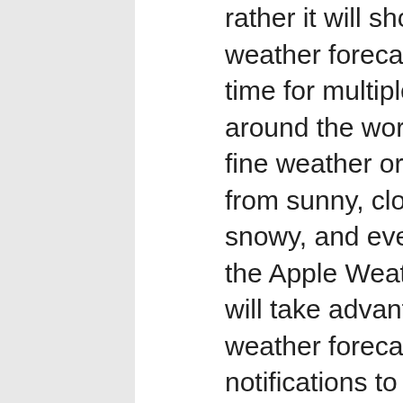rather it will show accurate weather forecasts and local time for multiple cities from all around the world. Let it be fine weather or bad weather from sunny, cloudy, to rainy, snowy, and even stormy, and the Apple Weather App iPad will take advantage of all. Get weather forecasts and visual notifications to stay updated about the weather condition of your location right on your iPad's display. Besides this, the weather forecasting app will also provide you with the current weather conditions along with the accurate forecast of multiple locations with ease.